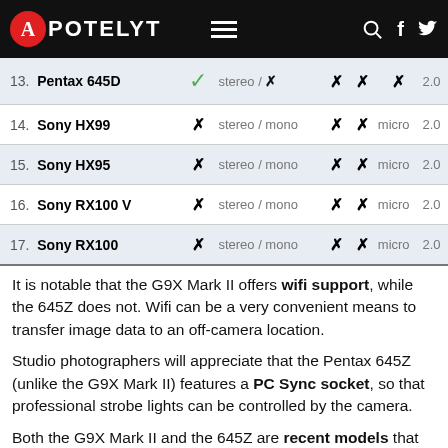APOTELYT
| # | Camera | Wifi | Audio | Col4 | Col5 | Size | Ver |
| --- | --- | --- | --- | --- | --- | --- | --- |
| 13. | Pentax 645D | ✓ | stereo / ✗ | ✗ | ✗ | ✗ | 2.0 |
| 14. | Sony HX99 | ✗ | stereo / mono | ✗ | ✗ | micro | 2.0 |
| 15. | Sony HX95 | ✗ | stereo / mono | ✗ | ✗ | micro | 2.0 |
| 16. | Sony RX100 V | ✗ | stereo / mono | ✗ | ✗ | micro | 2.0 |
| 17. | Sony RX100 | ✗ | stereo / mono | ✗ | ✗ | micro | 2.0 |
It is notable that the G9X Mark II offers wifi support, while the 645Z does not. Wifi can be a very convenient means to transfer image data to an off-camera location.
Studio photographers will appreciate that the Pentax 645Z (unlike the G9X Mark II) features a PC Sync socket, so that professional strobe lights can be controlled by the camera.
Both the G9X Mark II and the 645Z are recent models that are part of the current product line-up. The 645Z replaced the earlier Pentax 645D, while the G9X Mark II followed on from the Canon G9 X. Further information on the features